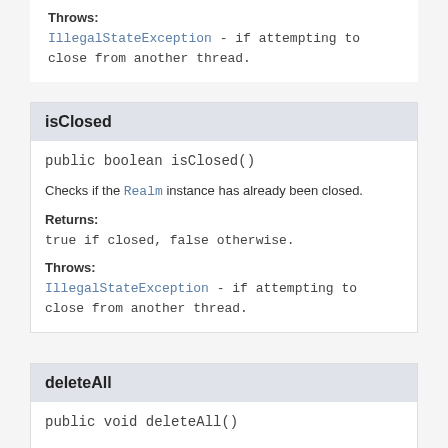Throws:
IllegalStateException - if attempting to close from another thread.
isClosed
public boolean isClosed()
Checks if the Realm instance has already been closed.
Returns:
true if closed, false otherwise.
Throws:
IllegalStateException - if attempting to close from another thread.
deleteAll
public void deleteAll()